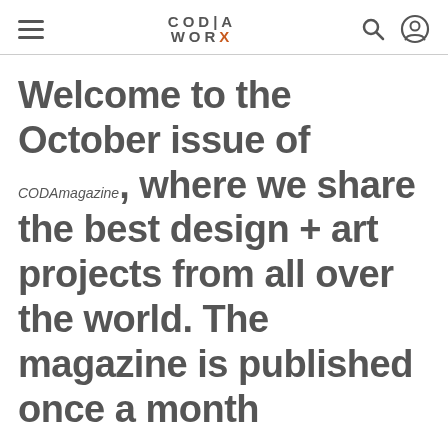CODAworx navigation bar
Welcome to the October issue of CODAmagazine, where we share the best design + art projects from all over the world. The magazine is published once a month